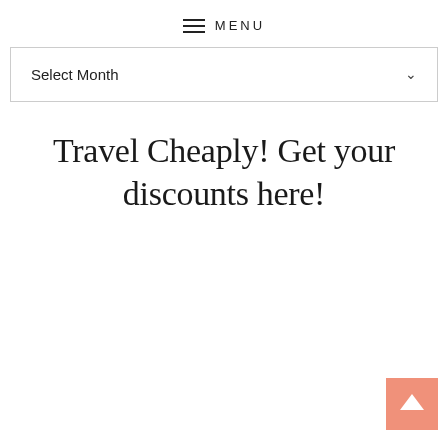MENU
Select Month
Travel Cheaply! Get your discounts here!